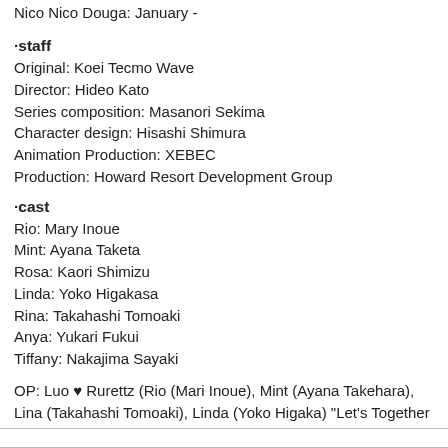Nico Nico Douga: January -
·staff
Original: Koei Tecmo Wave
Director: Hideo Kato
Series composition: Masanori Sekima
Character design: Hisashi Shimura
Animation Production: XEBEC
Production: Howard Resort Development Group
·cast
Rio: Mary Inoue
Mint: Ayana Taketa
Rosa: Kaori Shimizu
Linda: Yoko Higakasa
Rina: Takahashi Tomoaki
Anya: Yukari Fukui
Tiffany: Nakajima Sayaki
OP: Luo ♥ Rurettz (Rio (Mari Inoue), Mint (Ayana Takehara), Lina (Takahashi Tomoaki), Linda (Yoko Higaka) "Let's Together with the World!"
ED: ULTRA-PRISM "Miracleu ☆ Chan"